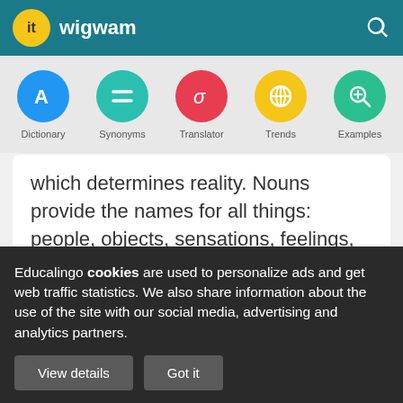it wigwam
[Figure (screenshot): Navigation bar with five circular icons: Dictionary (blue, letter A), Synonyms (teal, equals sign), Translator (red, sigma), Trends (yellow, globe), Examples (green, magnifying glass with plus)]
which determines reality. Nouns provide the names for all things: people, objects, sensations, feelings, etc.
Educalingo cookies are used to personalize ads and get web traffic statistics. We also share information about the use of the site with our social media, advertising and analytics partners.
View details   Got it